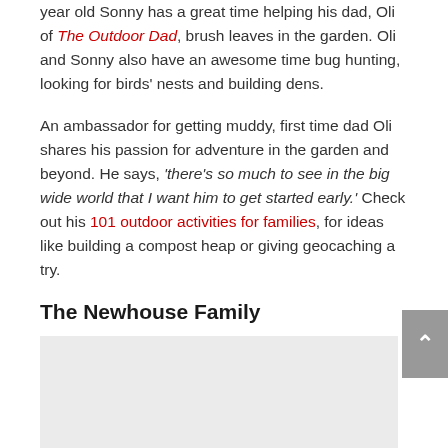year old Sonny has a great time helping his dad, Oli of The Outdoor Dad, brush leaves in the garden. Oli and Sonny also have an awesome time bug hunting, looking for birds' nests and building dens.
An ambassador for getting muddy, first time dad Oli shares his passion for adventure in the garden and beyond. He says, 'there's so much to see in the big wide world that I want him to get started early.' Check out his 101 outdoor activities for families, for ideas like building a compost heap or giving geocaching a try.
The Newhouse Family
[Figure (photo): A light gray placeholder image block representing a photo of the Newhouse Family]